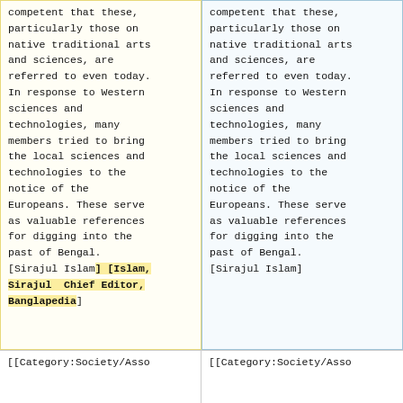competent that these, particularly those on native traditional arts and sciences, are referred to even today. In response to Western sciences and technologies, many members tried to bring the local sciences and technologies to the notice of the Europeans. These serve as valuable references for digging into the past of Bengal.
[Sirajul Islam] [Islam, Sirajul Chief Editor, Banglapedia]
competent that these, particularly those on native traditional arts and sciences, are referred to even today. In response to Western sciences and technologies, many members tried to bring the local sciences and technologies to the notice of the Europeans. These serve as valuable references for digging into the past of Bengal.
[Sirajul Islam]
[[Category:Society/Asso
[[Category:Society/Asso